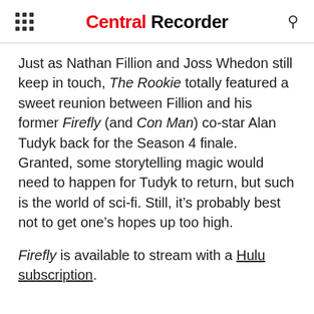Central Recorder
Just as Nathan Fillion and Joss Whedon still keep in touch, The Rookie totally featured a sweet reunion between Fillion and his former Firefly (and Con Man) co-star Alan Tudyk back for the Season 4 finale. Granted, some storytelling magic would need to happen for Tudyk to return, but such is the world of sci-fi. Still, it’s probably best not to get one’s hopes up too high.
Firefly is available to stream with a Hulu subscription.